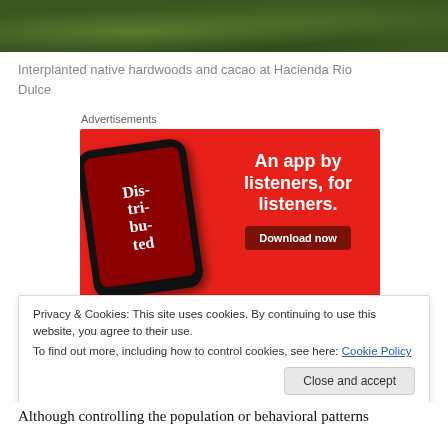[Figure (photo): Aerial/close-up photograph of interplanted native hardwoods and cacao trees at Hacienda Rio Dulce, showing dense green forest canopy]
Interplanted native hardwoods and cacao at Hacienda Rio Dulce
Advertisements
[Figure (photo): Advertisement for a podcast app showing a smartphone displaying the 'Distributed' podcast, with red background, text 'An app by listeners, for listeners.' and a 'Download now' button]
Privacy & Cookies: This site uses cookies. By continuing to use this website, you agree to their use.
To find out more, including how to control cookies, see here: Cookie Policy
Although controlling the population or behavioral patterns